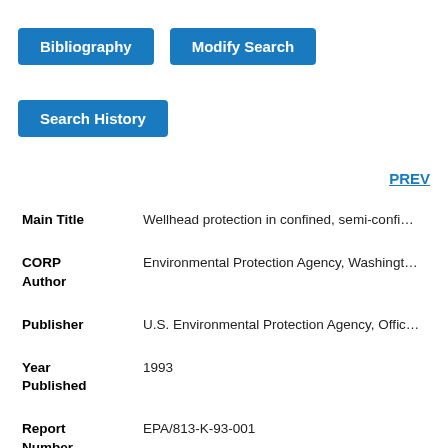Bibliography
Modify Search
Search History
PREV
| Field | Value |
| --- | --- |
| Main Title | Wellhead protection in confined, semi-confi... |
| CORP Author | Environmental Protection Agency, Washingt... |
| Publisher | U.S. Environmental Protection Agency, Offic... |
| Year Published | 1993 |
| Report Number | EPA/813-K-93-001 |